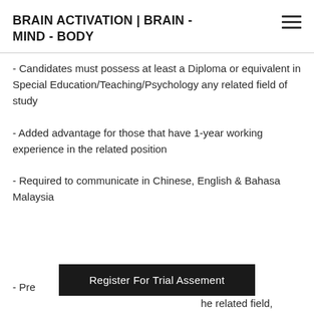BRAIN ACTIVATION | BRAIN - MIND - BODY
- Candidates must possess at least a Diploma or equivalent in Special Education/Teaching/Psychology any related field of study
- Added advantage for those that have 1-year working experience in the related position
- Required to communicate in Chinese, English & Bahasa Malaysia
- Pre... he related field,